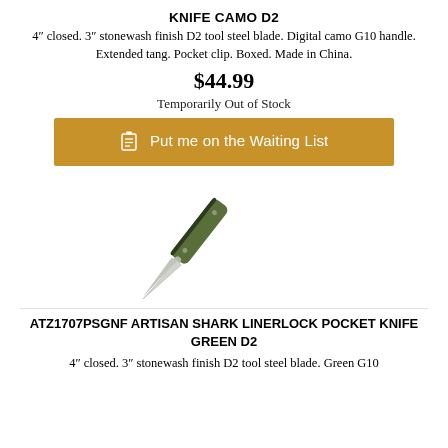KNIFE CAMO D2
4" closed. 3" stonewash finish D2 tool steel blade. Digital camo G10 handle. Extended tang. Pocket clip. Boxed. Made in China.
$44.99
Temporarily Out of Stock
[Figure (other): Golden/tan button: clipboard icon followed by 'Put me on the Waiting List']
[Figure (photo): Folding pocket knife with olive green G10 handle and silver blade, shown closed at an angle]
ATZ1707PSGNF ARTISAN SHARK LINERLOCK POCKET KNIFE GREEN D2
4" closed. 3" stonewash finish D2 tool steel blade. Green G10